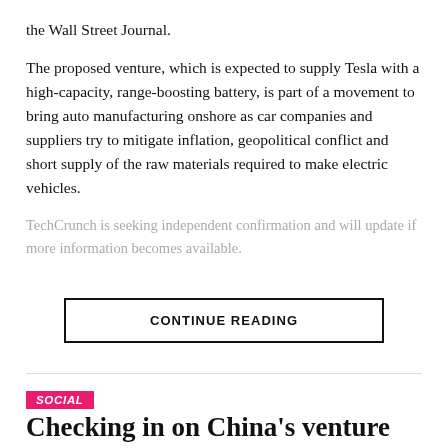the Wall Street Journal.
The proposed venture, which is expected to supply Tesla with a high-capacity, range-boosting battery, is part of a movement to bring auto manufacturing onshore as car companies and suppliers try to mitigate inflation, geopolitical conflict and short supply of the raw materials required to make electric vehicles.
TechCrunch is seeking independent confirmation and will update if more information becomes available.
CONTINUE READING
SOCIAL
Checking in on China's venture